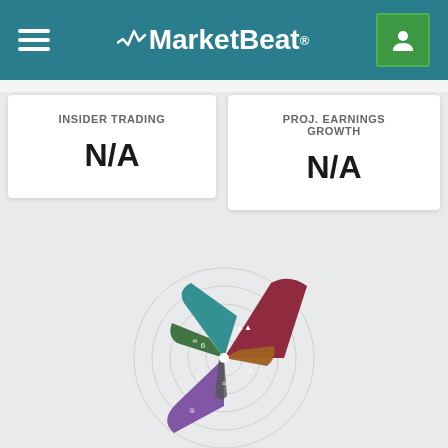MarketBeat
INSIDER TRADING
N/A
PROJ. EARNINGS GROWTH
N/A
[Figure (radar-chart): Radar/spider chart with colored wedge segments in dark red, teal, green, purple, and brown/orange colors, shown on concentric circle gridlines background]